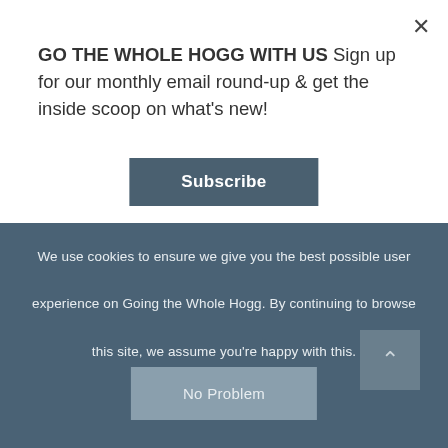GO THE WHOLE HOGG WITH US Sign up for our monthly email round-up & get the inside scoop on what's new!
Subscribe
come to visit as we've been able to take some time off to spend with them.
We've also maximised our holiday time by tagging extra days onto public holidays,
We use cookies to ensure we give you the best possible user experience on Going the Whole Hogg. By continuing to browse this site, we assume you're happy with this.
No Problem